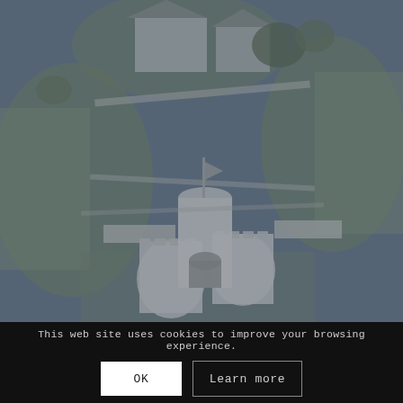[Figure (photo): Aerial view of a castle or historic building with towers and battlements, surrounded by green lawns and other buildings. The image has a blue-grey muted tone overlay.]
This web site uses cookies to improve your browsing experience.
OK
Learn more